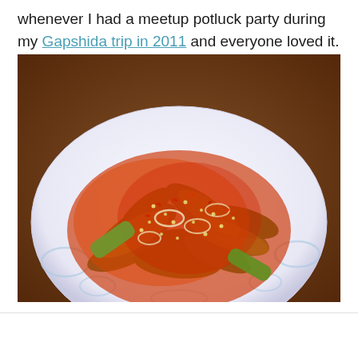whenever I had a meetup potluck party during my Gapshida trip in 2011 and everyone loved it.
[Figure (photo): A plate of spicy Korean cucumber salad (oi-muchim) with red chili sauce, sesame seeds, and onion slices on a white plate with blue floral pattern, placed on a wooden table.]